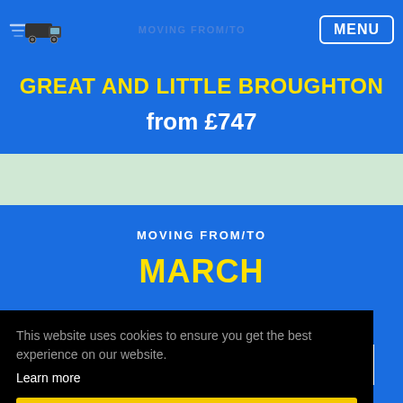MOVING FROM/TO
GREAT AND LITTLE BROUGHTON
from £747
MOVING FROM/TO
MARCH
This website uses cookies to ensure you get the best experience on our website. Learn more
Got it!